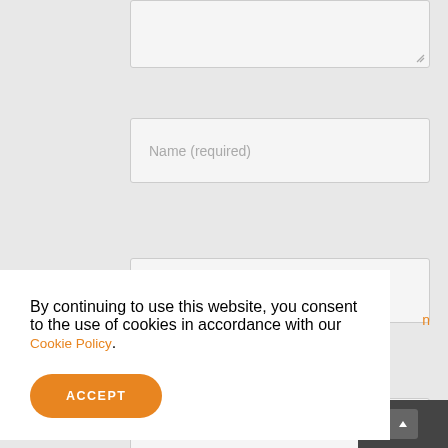[Figure (screenshot): Web form with textarea (partially visible at top), Name (required) input field, Email (required) input field, Website input field, and partially visible POST COMMENT button]
By continuing to use this website, you consent to the use of cookies in accordance with our Cookie Policy.
ACCEPT